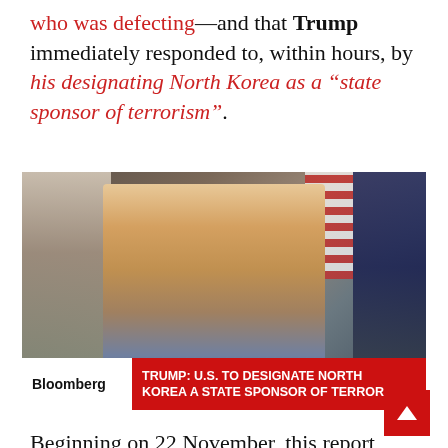who was defecting—and that Trump immediately responded to, within hours, by his designating North Korea as a "state sponsor of terrorism".
[Figure (photo): Bloomberg TV screenshot showing a man in a suit seated at a conference table speaking, with an American flag in the background. Lower-third banner reads: TRUMP: U.S. TO DESIGNATE NORTH KOREA A STATE SPONSOR OF TERROR]
Beginning on 22 November, this report says this US State Department armistice violation